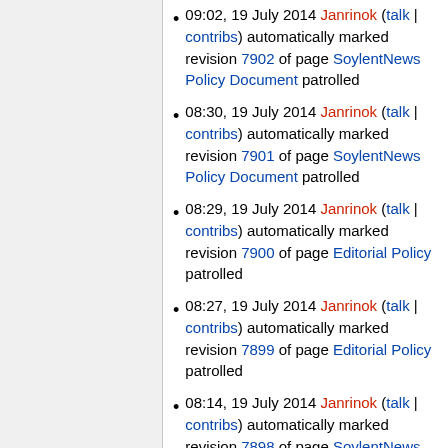09:02, 19 July 2014 Janrinok (talk | contribs) automatically marked revision 7902 of page SoylentNews Policy Document patrolled
08:30, 19 July 2014 Janrinok (talk | contribs) automatically marked revision 7901 of page SoylentNews Policy Document patrolled
08:29, 19 July 2014 Janrinok (talk | contribs) automatically marked revision 7900 of page Editorial Policy patrolled
08:27, 19 July 2014 Janrinok (talk | contribs) automatically marked revision 7899 of page Editorial Policy patrolled
08:14, 19 July 2014 Janrinok (talk | contribs) automatically marked revision 7898 of page SoylentNews Policy Document patrolled